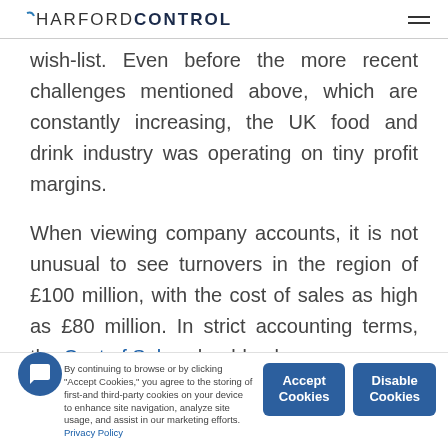HARFORD CONTROL
wish-list. Even before the more recent challenges mentioned above, which are constantly increasing, the UK food and drink industry was operating on tiny profit margins.
When viewing company accounts, it is not unusual to see turnovers in the region of £100 million, with the cost of sales as high as £80 million. In strict accounting terms, the Cost of Sales should only
By continuing to browse or by clicking "Accept Cookies," you agree to the storing of first-and third-party cookies on your device to enhance site navigation, analyze site usage, and assist in our marketing efforts. Privacy Policy